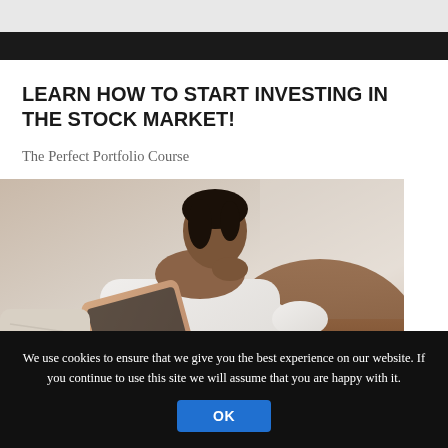[Figure (photo): Dark header image strip at top of card]
LEARN HOW TO START INVESTING IN THE STOCK MARKET!
The Perfect Portfolio Course
[Figure (photo): Woman in white sweater sitting on brown leather chair, holding a rose gold tablet, reading]
We use cookies to ensure that we give you the best experience on our website. If you continue to use this site we will assume that you are happy with it.